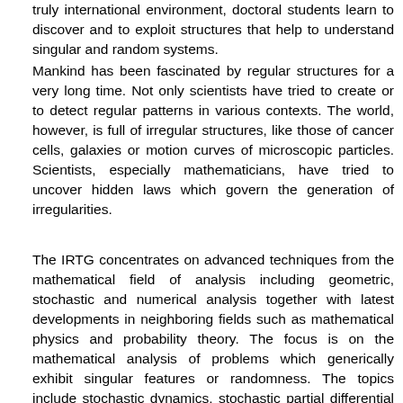truly international environment, doctoral students learn to discover and to exploit structures that help to understand singular and random systems.
Mankind has been fascinated by regular structures for a very long time. Not only scientists have tried to create or to detect regular patterns in various contexts. The world, however, is full of irregular structures, like those of cancer cells, galaxies or motion curves of microscopic particles. Scientists, especially mathematicians, have tried to uncover hidden laws which govern the generation of irregularities.
The IRTG concentrates on advanced techniques from the mathematical field of analysis including geometric, stochastic and numerical analysis together with latest developments in neighboring fields such as mathematical physics and probability theory. The focus is on the mathematical analysis of problems which generically exhibit singular features or randomness. The topics include stochastic dynamics, stochastic partial differential equations, machine learning, nonlinear wave equations,